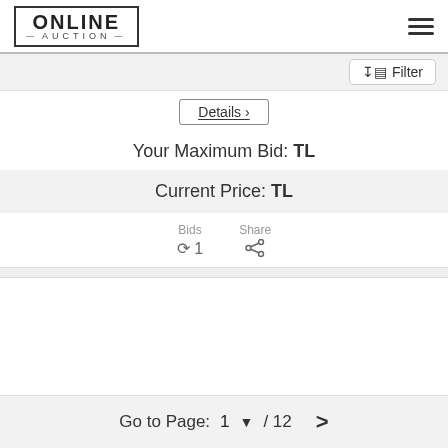[Figure (logo): Online Auction logo in bordered box with hamburger menu icon]
Filter
Details ›
Your Maximum Bid: TL
Current Price: TL
Bids
↺ 1
Share
⋮
Go to Page:   1  ▼  / 12   >